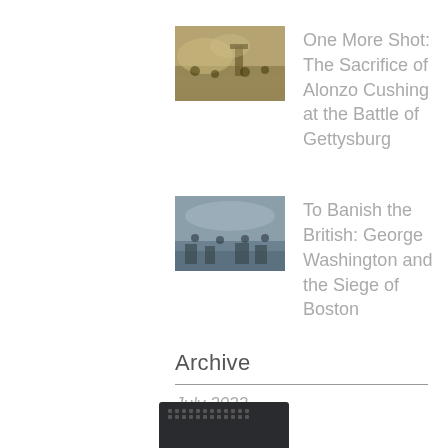[Figure (photo): Thumbnail image of a Civil War battle scene with artillery and soldiers]
One More Shot: The Sacrifice of Alonzo Cushing at the Battle of Gettysburg
[Figure (photo): Thumbnail image of a historical scene related to the Siege of Boston]
To Banish the British: George Washington and the Siege of Boston
Archive
July 2022
June 2022
May 2022
March 2022
February 2022
December 2021